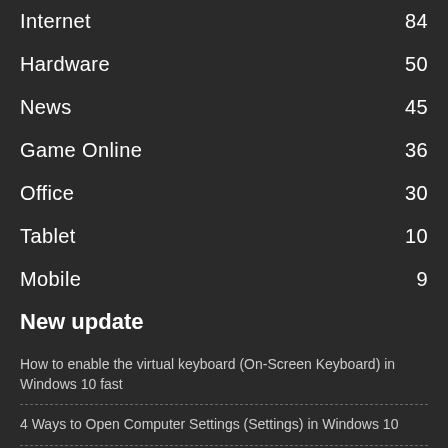Internet  84
Hardware  50
News  45
Game Online  36
Office  30
Tablet  10
Mobile  9
New update
How to enable the virtual keyboard (On-Screen Keyboard) in Windows 10 fast
4 Ways to Open Computer Settings (Settings) in Windows 10
How to upgrade to Windows 10 from Windows 8.1